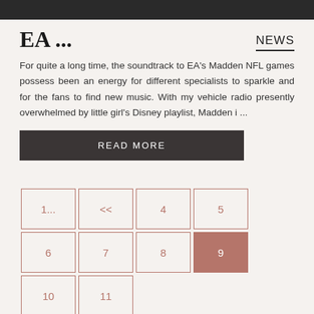[Figure (photo): Dark greyscale image strip at the top of the page]
EA ...
NEWS
For quite a long time, the soundtrack to EA's Madden NFL games possess been an energy for different specialists to sparkle and for the fans to find new music. With my vehicle radio presently overwhelmed by little girl's Disney playlist, Madden i ...
READ MORE
1...
<<
4
5
6
7
8
9
10
11
12
13
14
>>
18
216
MAYBE YOU NEED